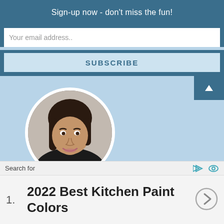Sign-up now - don't miss the fun!
Your email address..
SUBSCRIBE
[Figure (photo): Circular profile photo of a woman with dark hair, smiling, wearing a black top]
Welcome to my blog! I'm a mother, nana,
photographer, and cat lover. I began sewing at a very
Search for
1. 2022 Best Kitchen Paint Colors